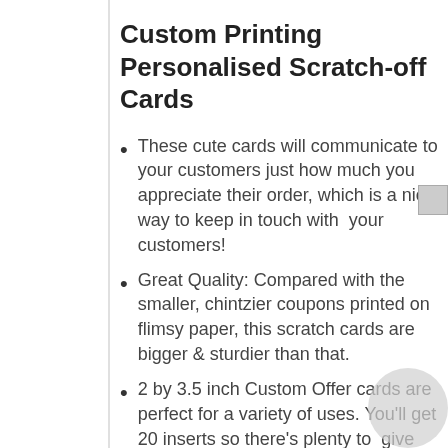Custom Printing Personalised Scratch-off Cards
These cute cards will communicate to your customers just how much you appreciate their order, which is a nice way to keep in touch with  your customers!
Great Quality: Compared with the smaller, chintzier coupons printed on flimsy paper, this scratch cards are bigger & sturdier than that.
2 by 3.5 inch Custom Offer cards are perfect for a variety of uses. You'll get 20 inserts so there's plenty to  give out with your orders and communications. Write in the reward you would like to offer your customers, then cover with a scratch off sticker that is included with your purchase.
Blank on back: These fun cards help you recognize your customers in style. The back of each card is blank, making it quick and easy